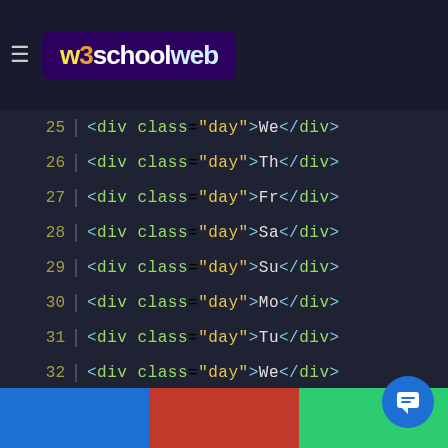w3schoolweb
[Figure (screenshot): Code editor screenshot showing HTML lines 25-44, each containing <div class="day"> elements with day abbreviations (We, Th, Fr, Sa, Su, Mo, Tu) cycling through, displayed with syntax highlighting on dark background]
Bottom navigation bar with blue, red, and green sections and chat button